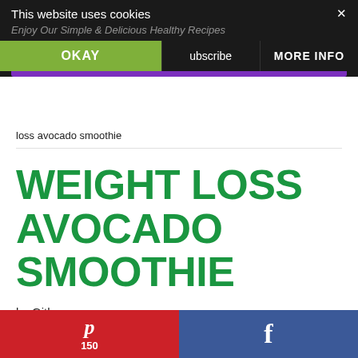This website uses cookies | Enjoy Our Simple & Delicious Healthy Recipes | OKAY | Subscribe | MORE INFO
loss avocado smoothie
WEIGHT LOSS AVOCADO SMOOTHIE
by Githu
Pinterest 150 | Facebook